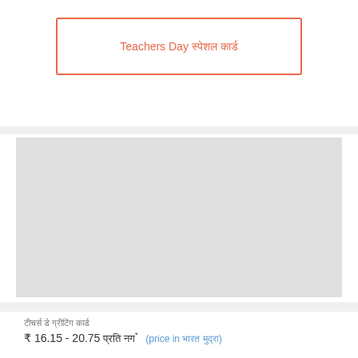Teachers Day स्पेशल कार्ड
[Figure (photo): Grey placeholder image area representing a product image]
टीचर्स डे ग्रीटिंग कार्ड
₹ 16.15 - 20.75 प्रति नग* (price in भारत मुद्रा)